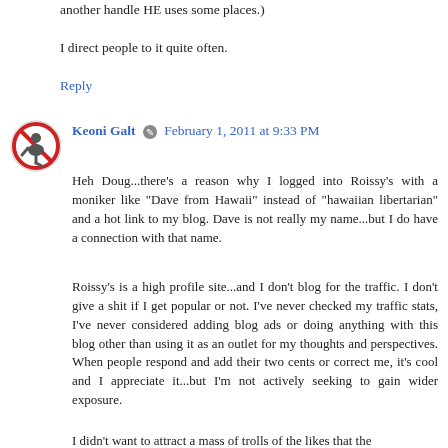another handle HE uses some places.)
I direct people to it quite often.
Reply
Keoni Galt  February 1, 2011 at 9:33 PM
Heh Doug...there's a reason why I logged into Roissy's with a moniker like "Dave from Hawaii" instead of "hawaiian libertarian" and a hot link to my blog. Dave is not really my name...but I do have a connection with that name.
Roissy's is a high profile site...and I don't blog for the traffic. I don't give a shit if I get popular or not. I've never checked my traffic stats, I've never considered adding blog ads or doing anything with this blog other than using it as an outlet for my thoughts and perspectives. When people respond and add their two cents or correct me, it's cool and I appreciate it...but I'm not actively seeking to gain wider exposure.
I didn't want to attract a mass of trolls of the likes that the